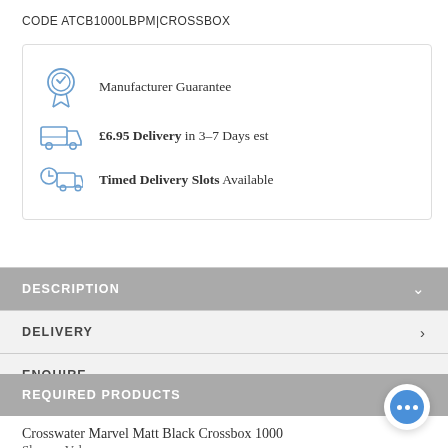CODE ATCB1000LBPM|CROSSBOX
Manufacturer Guarantee
£6.95 Delivery in 3–7 Days est
Timed Delivery Slots Available
DESCRIPTION
DELIVERY
ENQUIRE
REQUIRED PRODUCTS
Crosswater Marvel Matt Black Crossbox 1000 Shower Valve